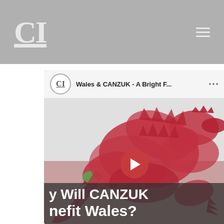CI
[Figure (screenshot): YouTube video embed showing a Welsh dragon flag background with CI logo badge and title 'Wales & CANZUK - A Bright F...' and overlay text reading 'y Will CANZUK / nefit Wales?']